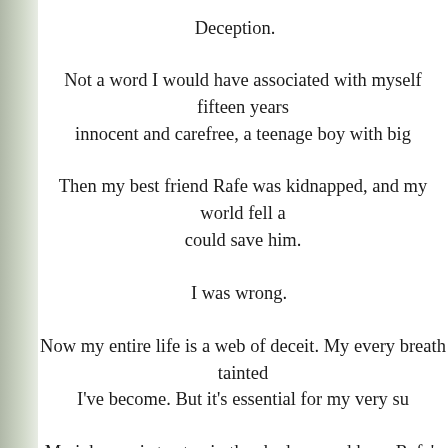Deception.
Not a word I would have associated with myself fifteen years ago. I was innocent and carefree, a teenage boy with big
Then my best friend Rafe was kidnapped, and my world fell a could save him.
I was wrong.
Now my entire life is a web of deceit. My every breath tainted I've become. But it's essential for my very su
My job now is to stay in the shadows and keep Rafe's sister even know I'm here.
Then danger lurks closer. Somehow, I must protect her whi
But I get so caught up in my own twisted game that I eventually
Now she's a part of the pact. And I can't let h